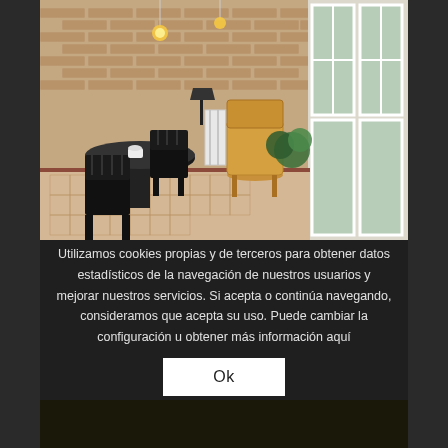[Figure (photo): Interior room photo showing a sunlit enclosed balcony or gallery with brick walls, patterned tile floor, black Windsor-style chairs, a round dark table, a rattan armchair, a white radiator, hanging Edison bulb lights, and large white-framed windows.]
Utilizamos cookies propias y de terceros para obtener datos estadísticos de la navegación de nuestros usuarios y mejorar nuestros servicios. Si acepta o continúa navegando, consideramos que acepta su uso. Puede cambiar la configuración u obtener más información aquí
Ok